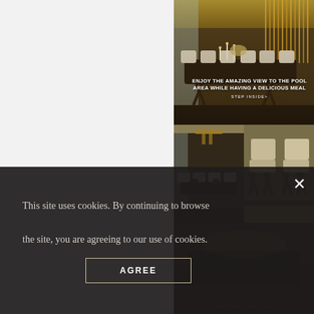[Figure (photo): Luxury hotel dining room with long dark table, white upholstered chairs, candles, and golden vertical rod installation in background]
ENJOY THE AMAZING VIEW TO THE POOL AREA WHILE HAVING A DELICIOUS MEAL
STEP INSIDE>
[Figure (photo): Left half of middle row: luxury dining area interior with chandelier and marble walls]
[Figure (photo): Right half of middle row: close-up of dark wood cross-leg dining chairs]
[Figure (photo): Bottom partially visible: darkened interior lounge area]
This site uses cookies. By continuing to browse the site, you are agreeing to our use of cookies.
AGREE
PASSION...M IN ALL